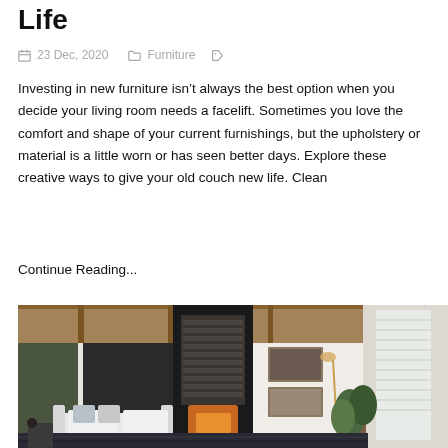Life
23 Dec, 2020   Furniture
Investing in new furniture isn't always the best option when you decide your living room needs a facelift. Sometimes you love the comfort and shape of your current furnishings, but the upholstery or material is a little worn or has seen better days. Explore these creative ways to give your old couch new life. Clean
Continue Reading...
[Figure (photo): Interior photo of a modern living room with white sofa, fireplace, wooden ceiling, plants and large windows]